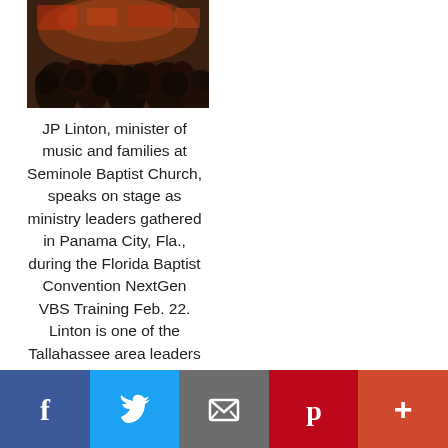[Figure (photo): Photo of a crowd of people gathered at an event, viewed from behind, with warm/dim lighting.]
JP Linton, minister of music and families at Seminole Baptist Church, speaks on stage as ministry leaders gathered in Panama City, Fla., during the Florida Baptist Convention NextGen VBS Training Feb. 22. Linton is one of the Tallahassee area leaders hosting the